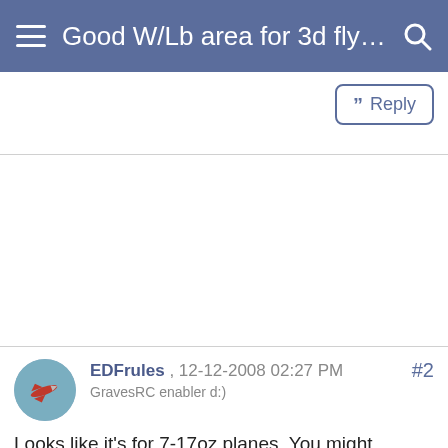Good W/Lb area for 3d flying...
Reply
[Figure (photo): User avatar showing a small RC airplane against blue sky]
#2
EDFrules , 12-12-2008 02:27 PM
GravesRC enabler d:)
Looks like it's for 7-17oz planes. You might assume a 7-